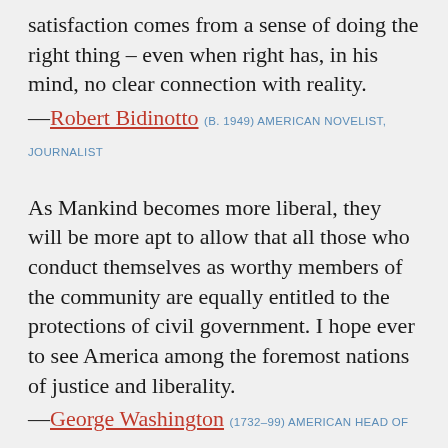satisfaction comes from a sense of doing the right thing – even when right has, in his mind, no clear connection with reality.
—Robert Bidinotto (B. 1949) AMERICAN NOVELIST, JOURNALIST
As Mankind becomes more liberal, they will be more apt to allow that all those who conduct themselves as worthy members of the community are equally entitled to the protections of civil government. I hope ever to see America among the foremost nations of justice and liberality.
—George Washington (1732–99) AMERICAN HEAD OF STATE, MILITARY LEADER
A liberal is a socialist with a wife and two